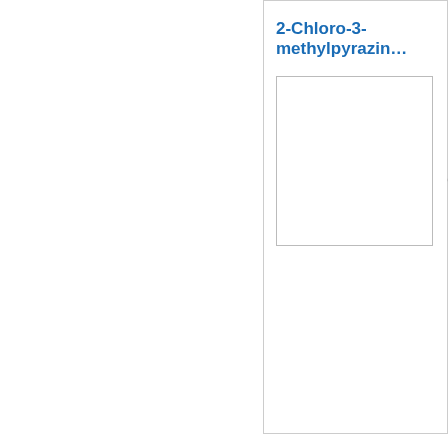2-Chloro-3-methylpyrazin…
Purity :
Packaging :
Grade :
2-Chloro-3-methylpyrazin…
Purity :
Packaging :
Grade :
2-Chloro-3-methylpyrazin…